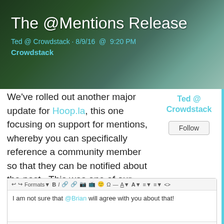[Figure (photo): Banner image with dark green/teal background showing someone lying on grass, overlaid with white title text and cyan metadata text]
The @Mentions Release
Ted @ Crowdstack · 8/9/16 @ 9:20 PM
Crowdstack
We've rolled out another major update for Hoop.la, this one focusing on support for mentions, whereby you can specifically reference a community member so that they can be notified about the post.  This was one of our most voted-on suggestions in our development queue.
Ted @ Crowdstack
Follow
[Figure (screenshot): Text editor toolbar with formatting buttons (Formats, B, I, link, image, emoji, etc.) and editor body containing: I am not sure that @Brian will agree with you about that!]